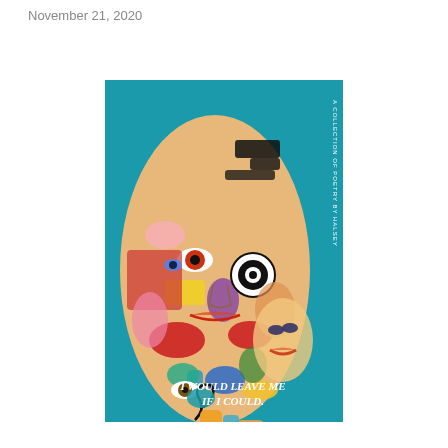November 21, 2020
[Figure (illustration): Book cover for 'I Would Leave Me If I Could' – a collection of poetry by Halsey. Teal/turquoise background with a large colorful surrealist illustration of overlapping stylized faces filled with eyes, lips, and abstract shapes in bright colors (red, yellow, blue, green, purple, orange). The book title 'I WOULD LEAVE ME IF I COULD.' appears at the bottom right in white italic serif text. A vertical text on the right spine reads 'A COLLECTION OF POETRY BY HALSEY' in small white text.]